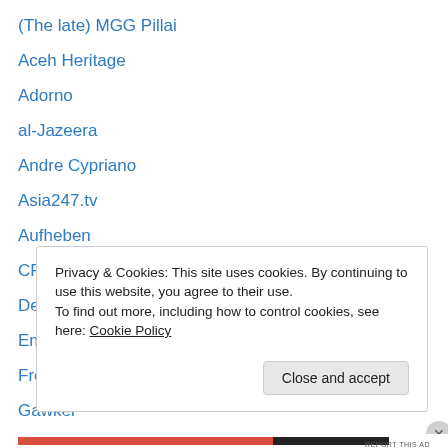(The late) MGG Pillai
Aceh Heritage
Adorno
al-Jazeera
Andre Cypriano
Asia247.tv
Aufheben
CPN-UML
Deleuze & Guattari
Emilio Morenatti
Freakonomics
Gawker
Gefont
Privacy & Cookies: This site uses cookies. By continuing to use this website, you agree to their use. To find out more, including how to control cookies, see here: Cookie Policy
Close and accept